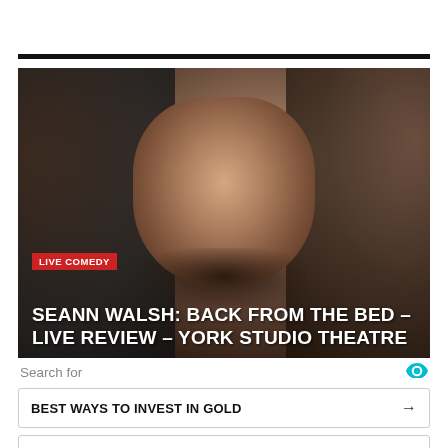[Figure (photo): Black and white / sepia close-up portrait of a man with wild curly hair, looking intensely at camera. Overlaid text includes a red 'LIVE COMEDY' badge and a white title 'SEANN WALSH: BACK FROM THE BED – LIVE REVIEW – YORK STUDIO THEATRE'.]
Search for
BEST WAYS TO INVEST IN GOLD →
ELEGANT EVENING GOWNS →